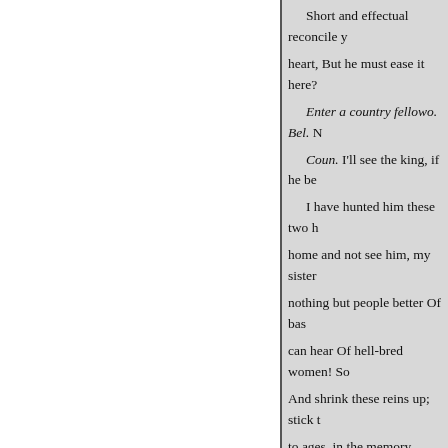Short and effectual reconcile y
heart, But he must ease it here?
Enter a country fellowo. Bel. N
Coun. I'll see the king, if he be
I have hunted him these two h home and not see him, my sister nothing but people better Of bas can hear Of hell-bred women! So And shrink these reins up; stick to ages, in the memory
man out of his wits. There's a co drawn; by this hand, upon a won with tears; for which may
Phi. Are you at peace? guilt
Are. With heaven and earth. S and body! Despair await you! W of asps between your lips ! Disc Nature make a curse, to play hal
good fellow for a broken head. A
Phi. Leave us, good friend. To